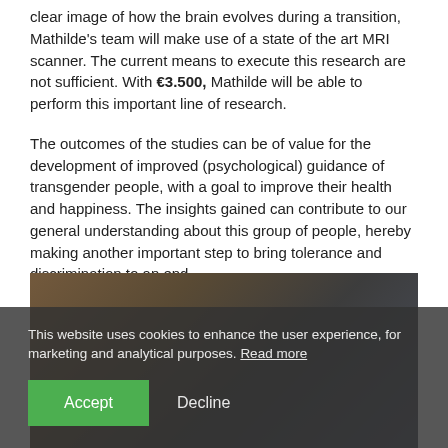clear image of how the brain evolves during a transition, Mathilde's team will make use of a state of the art MRI scanner. The current means to execute this research are not sufficient. With €3.500, Mathilde will be able to perform this important line of research.
The outcomes of the studies can be of value for the development of improved (psychological) guidance of transgender people, with a goal to improve their health and happiness. The insights gained can contribute to our general understanding about this group of people, hereby making another important step to bring tolerance and discrimination to an end.
This website uses cookies to enhance the user experience, for marketing and analytical purposes. Read more
[Figure (photo): Partially visible background photo of people, obscured by cookie consent overlay]